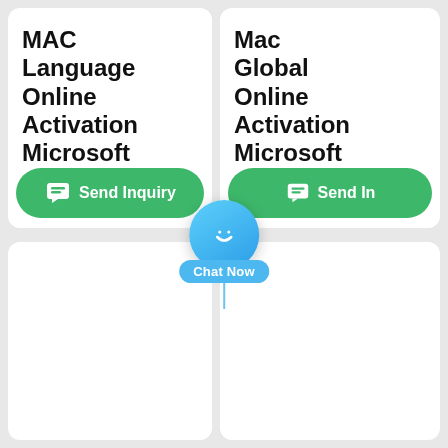MAC Language Online Activation Microsoft Office
Mac Global Online Activation Microsoft Office
[Figure (screenshot): Green 'Send Inquiry' button with chat icon on left product card]
[Figure (screenshot): Green 'Send In...' button with chat icon on right product card]
[Figure (infographic): Blue chat bubble overlay with smiley face icon and 'Chat Now' label with tail pointer]
(empty bottom-left card)
(empty bottom-right card)